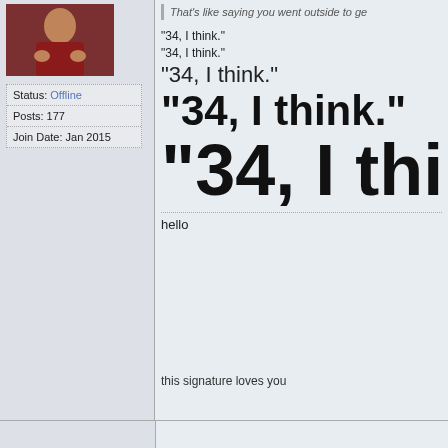[Figure (photo): Avatar photo of a person in a red top, partially cropped, top-left of forum post layout]
Status: Offline
Posts: 177
Join Date: Jan 2015
That's like saying you went outside to ge...
"34, I think."
"34, I think."
"34, I think."
"34, I think
hello
this signature loves you